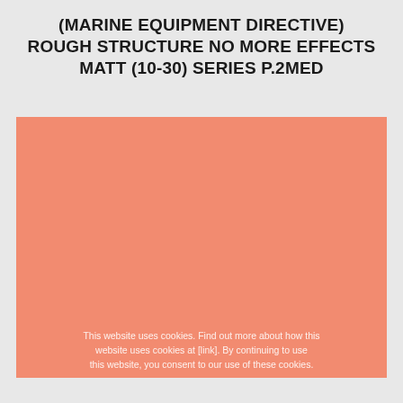(MARINE EQUIPMENT DIRECTIVE) ROUGH STRUCTURE NO MORE EFFECTS MATT (10-30) SERIES P.2MED
[Figure (photo): Large salmon/coral colored rectangular area representing a product color swatch or image placeholder for the P.2MED series paint product]
This website uses cookies. Find out more about how this website uses cookies at [link]. By continuing to use this website, you consent to our use of these cookies.